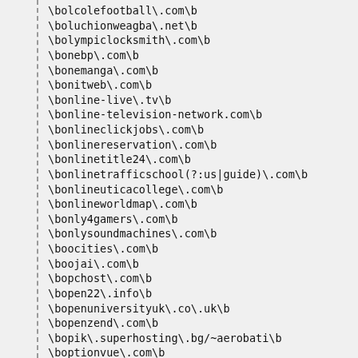\bolcolefootball\.com\b
\boluchionweagba\.net\b
\bolympiclocksmith\.com\b
\bonebp\.com\b
\bonemanga\.com\b
\bonitweb\.com\b
\bonline-live\.tv\b
\bonline-television-network.com\b
\bonlineclickjobs\.com\b
\bonlinereservation\.com\b
\bonlinetitle24\.com\b
\bonlinetrafficschool(?:us|guide)\.com\b
\bonlineuticacollege\.com\b
\bonlineworldmap\.com\b
\bonly4gamers\.com\b
\bonlysoundmachines\.com\b
\boocities\.com\b
\boojai\.com\b
\bopchost\.com\b
\bopen22\.info\b
\bopenuniversityuk\.co\.uk\b
\bopenzend\.com\b
\bopik\.superhosting\.bg/~aerobati\b
\boptionvue\.com\b